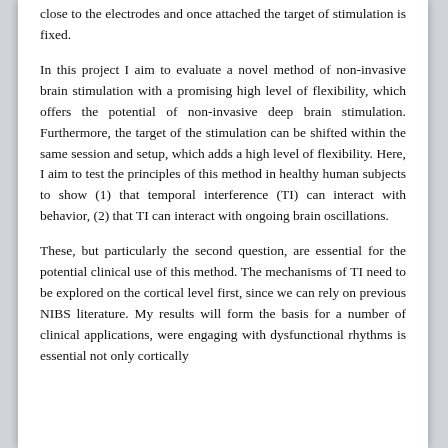close to the electrodes and once attached the target of stimulation is fixed.
In this project I aim to evaluate a novel method of non-invasive brain stimulation with a promising high level of flexibility, which offers the potential of non-invasive deep brain stimulation. Furthermore, the target of the stimulation can be shifted within the same session and setup, which adds a high level of flexibility. Here, I aim to test the principles of this method in healthy human subjects to show (1) that temporal interference (TI) can interact with behavior, (2) that TI can interact with ongoing brain oscillations.
These, but particularly the second question, are essential for the potential clinical use of this method. The mechanisms of TI need to be explored on the cortical level first, since we can rely on previous NIBS literature. My results will form the basis for a number of clinical applications, were engaging with dysfunctional rhythms is essential not only cortically